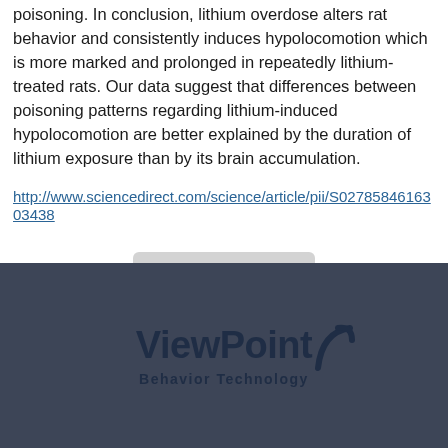poisoning. In conclusion, lithium overdose alters rat behavior and consistently induces hypolocomotion which is more marked and prolonged in repeatedly lithium-treated rats. Our data suggest that differences between poisoning patterns regarding lithium-induced hypolocomotion are better explained by the duration of lithium exposure than by its brain accumulation.
http://www.sciencedirect.com/science/article/pii/S0278584616303438
[Figure (logo): ViewPoint Behavior Technology logo on dark blue-grey footer background. The logo shows 'ViewPoint' in bold dark navy text with a curved arc/swoosh element to the right, and 'Behavior Technology' as a subtitle beneath.]